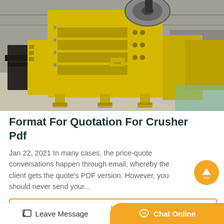[Figure (photo): Industrial factory floor showing a large yellow jaw crusher machine sitting on concrete floor with other yellow industrial equipment in background. The crusher has a distinctive ribbed/slotted frame structure. Factory building interior visible in background.]
Format For Quotation For Crusher Pdf
Jan 22, 2021 In many cases, the price-quote conversations happen through email, whereby the client gets the quote's PDF version. However, you should never send your...
Get P...
Leave Message
Chat Online